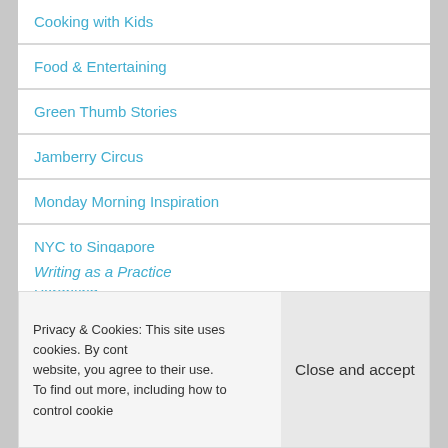Cooking with Kids
Food & Entertaining
Green Thumb Stories
Jamberry Circus
Monday Morning Inspiration
NYC to Singapore
Parenting
Privacy & Cookies: This site uses cookies. By cont... website, you agree to their use.
To find out more, including how to control cookie...
Close and accept
Writing as a Practice